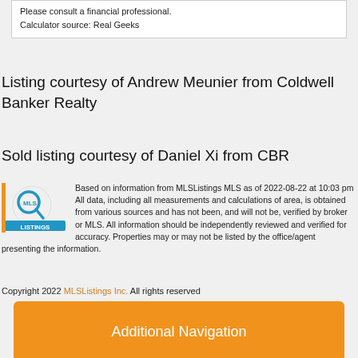Please consult a financial professional.
Calculator source: Real Geeks
Listing courtesy of Andrew Meunier from Coldwell Banker Realty
Sold listing courtesy of Daniel Xi from CBR
[Figure (logo): MLSListings logo with magnifying glass icon and blue/orange text]
Based on information from MLSListings MLS as of 2022-08-22 at 10:03 pm All data, including all measurements and calculations of area, is obtained from various sources and has not been, and will not be, verified by broker or MLS. All information should be independently reviewed and verified for accuracy. Properties may or may not be listed by the office/agent presenting the information.
Copyright 2022 MLSListings Inc. All rights reserved
Additional Navigation
[Figure (logo): MaxReal logo with dark red and gold building/letter M icon and MaxReal text]